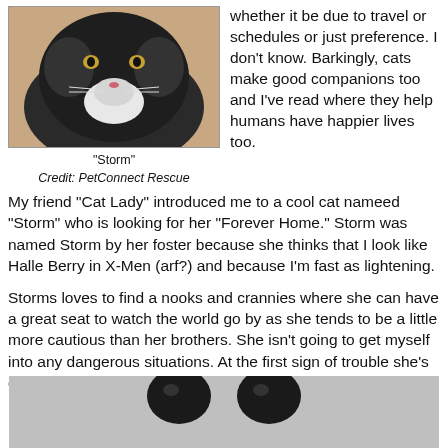[Figure (photo): Close-up photo of a black and white cat named Storm, looking upward, fluffy fur visible]
"Storm"
Credit: PetConnect Rescue
whether it be due to travel or schedules or just preference.  I don't know.  Barkingly, cats make good companions too and I've read where they help humans have happier lives too.
My friend "Cat Lady" introduced me to a cool cat nameed "Storm" who is looking for her "Forever Home."  Storm was named Storm by her foster because she thinks that I look like Halle Berry in X-Men (arf?) and because I'm fast as lightening.
Storms loves to find a nooks and crannies where she can have a great seat to watch the world go by as she tends to be a little more cautious than her brothers. She isn't going to get myself into any dangerous situations. At the first sign of trouble she's out of there!
[Figure (photo): Partial photo showing two dark cat eyes/paws at the bottom of the page]